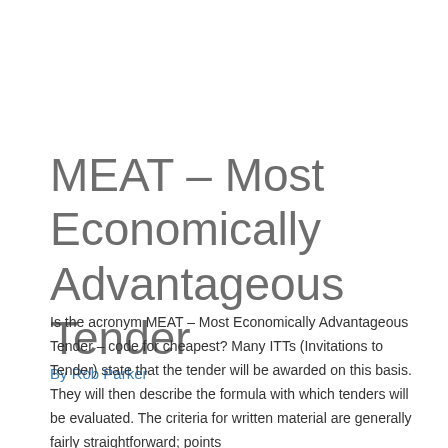MEAT – Most Economically Advantageous Tender
By Rob Parker
Is the acronym MEAT – Most Economically Advantageous Tender – code for cheapest? Many ITTs (Invitations to Tender) state that the tender will be awarded on this basis. They will then describe the formula with which tenders will be evaluated. The criteria for written material are generally fairly straightforward; points